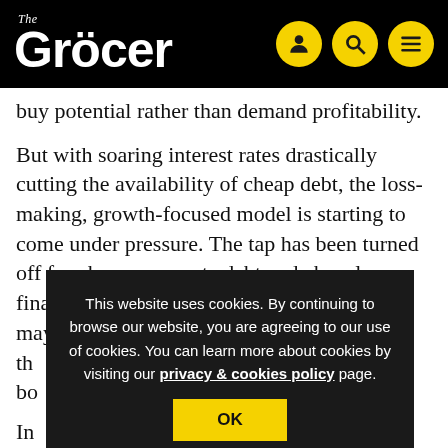The Grocer
buy potential rather than demand profitability.
But with soaring interest rates drastically cutting the availability of cheap debt, the loss-making, growth-focused model is starting to come under pressure. The tap has been turned off for cheap corporate debt and cheaply financed investor cash, meaning companies may start to find th... re bo...
In... w... fa... de...
9.4% discount. But given that shares closed the next day just...
This website uses cookies. By continuing to browse our website, you are agreeing to our use of cookies. You can learn more about cookies by visiting our privacy & cookies policy page.